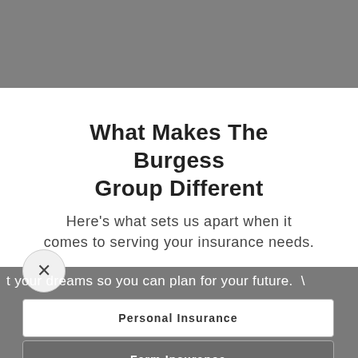What Makes The Burgess Group Different
Here's what sets us apart when it comes to serving your insurance needs.
t your dreams so you can plan for your future.  \
Personal Insurance
Farm Insurance